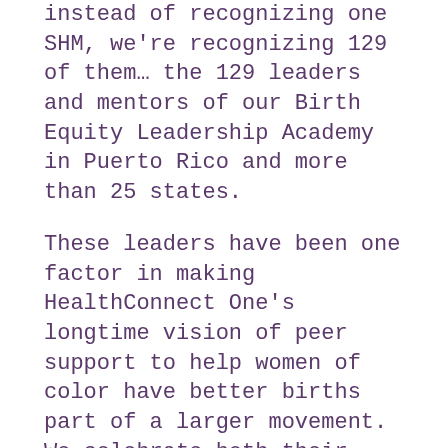instead of recognizing one SHM, we're recognizing 129 of them… the 129 leaders and mentors of our Birth Equity Leadership Academy in Puerto Rico and more than 25 states.
These leaders have been one factor in making HealthConnect One's longtime vision of peer support to help women of color have better births part of a larger movement. We celebrate both their impact and the journey each of them took to become the leaders they are.
We've collected some of their statements over the years we've had the privilege of working with them, and photos of them from the convenings and workshops we've held with them. We hope you'll enjoy watching our presentation of them.
We're also grateful to sponsors of our virtual Every Baby Our Baby this year: Gold sponsors the Irving Harris Foundation and Perigee Fund; Silver